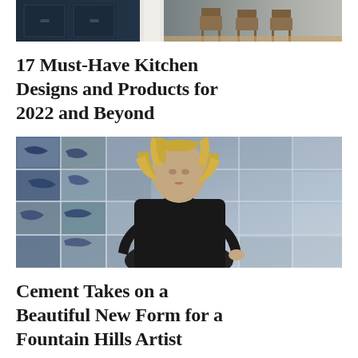[Figure (photo): Top portion of a kitchen interior photo showing dark navy cabinets and wooden chairs, partially cropped]
17 Must-Have Kitchen Designs and Products for 2022 and Beyond
[Figure (photo): Portrait of a blonde woman in a black outfit standing in front of a blue and grey mosaic/patchwork textile artwork background]
Cement Takes on a Beautiful New Form for a Fountain Hills Artist